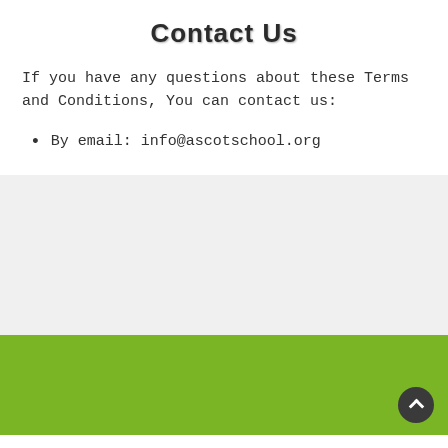Contact Us
If you have any questions about these Terms and Conditions, You can contact us:
By email: info@ascotschool.org